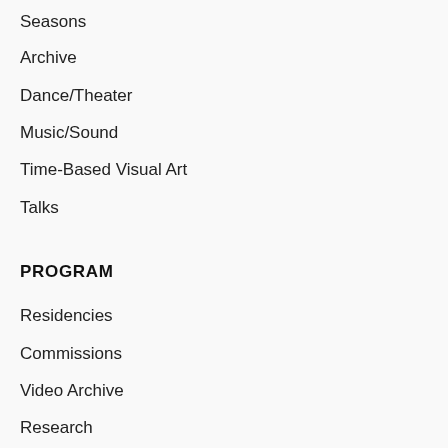Seasons
Archive
Dance/Theater
Music/Sound
Time-Based Visual Art
Talks
PROGRAM
Residencies
Commissions
Video Archive
Research